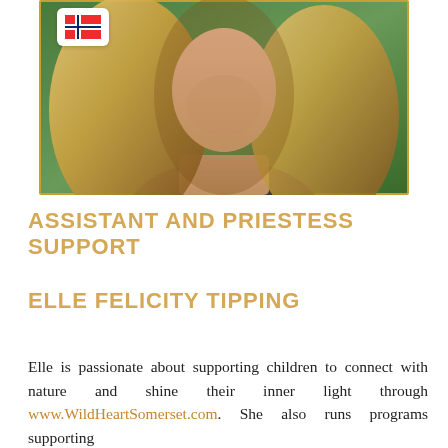[Figure (photo): Portrait photo of Elle Felicity Tipping, a woman with long wavy blonde hair, wearing a dark top, with green foliage in the background. A Norwegian flag badge is overlaid in the top-left corner of the photo.]
ASSISTANT AND PRIESTESS SUPPORT
ELLE FELICITY TIPPING
Elle is passionate about supporting children to connect with nature and shine their inner light through www.WildHeartSomerset.com. She also runs programs supporting